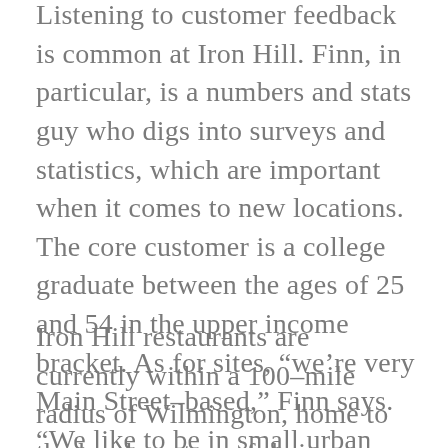Listening to customer feedback is common at Iron Hill. Finn, in particular, is a numbers and stats guy who digs into surveys and statistics, which are important when it comes to new locations. The core customer is a college graduate between the ages of 25 and 54 in the upper income bracket. As for sites, “we’re very Main Street-based,” Finn says. “We like to be in small urban towns with a good upscale population and foot and car traffic.” The partners are looking forward to the day when the Riverfront residences are fully occupied.
Iron Hill restaurants are currently within a 100-mile radius of Wilmington, home to the headquarters of their company, C&D Brewing Co. Lancaster is the farthest away. Since Delaware last